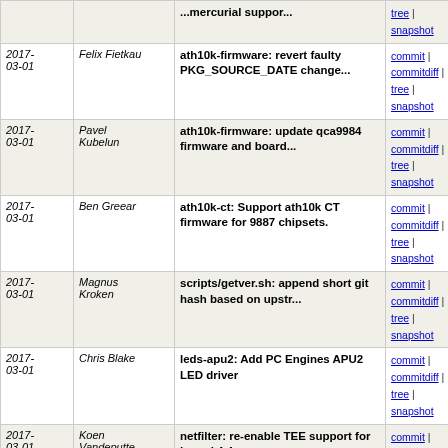| Date | Author | Description | Links |
| --- | --- | --- | --- |
| 2017-03-01 |  | ...mercurial suppor... | commit | commitdiff | tree | snapshot |
| 2017-03-01 | Felix Fietkau | ath10k-firmware: revert faulty PKG_SOURCE_DATE change... | commit | commitdiff | tree | snapshot |
| 2017-03-01 | Pavel Kubelun | ath10k-firmware: update qca9984 firmware and board... | commit | commitdiff | tree | snapshot |
| 2017-03-01 | Ben Greear | ath10k-ct: Support ath10k CT firmware for 9887 chipsets. | commit | commitdiff | tree | snapshot |
| 2017-03-01 | Magnus Kroken | scripts/getver.sh: append short git hash based on upstr... | commit | commitdiff | tree | snapshot |
| 2017-03-01 | Chris Blake | leds-apu2: Add PC Engines APU2 LED driver | commit | commitdiff | tree | snapshot |
| 2017-03-01 | Koen Vandeputte | netfilter: re-enable TEE support for kernel 4.4 | commit | commitdiff | tree | snapshot |
| 2017-03-01 | Chris Blake | gpio-nct5104d: Add nct5104d driver package | commit | commitdiff | tree | snapshot |
| 2017-03-01 | Chris Blake | x86/64: Enable GPIO sysfs & GPIO LED support | commit | commitdiff | tree | snapshot |
| 2017-03-01 | Mathias Kresin | x86: drop ep80579-drivers | commit | commitdiff | tree | snapshot |
| 2017-03-01 | Daniel Golle | 6in4: add missing colon when setting default ca_path | commit | commitdiff | tree | snapshot |